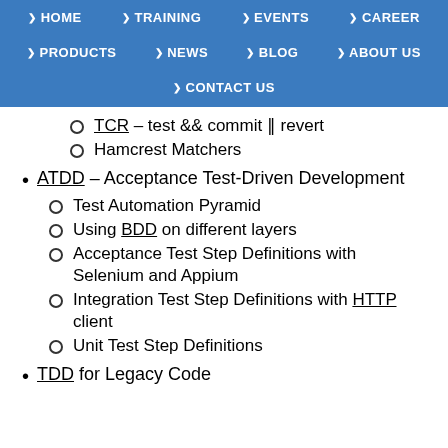HOME | TRAINING | EVENTS | CAREER | PRODUCTS | NEWS | BLOG | ABOUT US | CONTACT US
TCR - test && commit || revert
Hamcrest Matchers
ATDD - Acceptance Test-Driven Development
Test Automation Pyramid
Using BDD on different layers
Acceptance Test Step Definitions with Selenium and Appium
Integration Test Step Definitions with HTTP client
Unit Test Step Definitions
TDD for Legacy Code